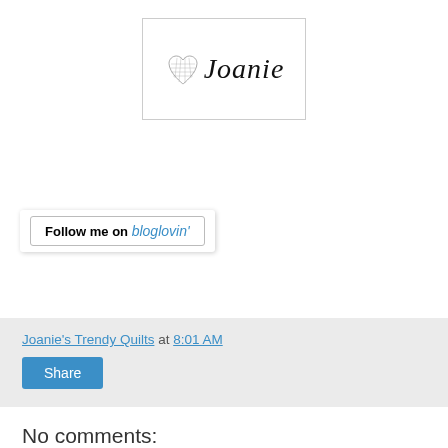[Figure (logo): Joanie's Trendy Quilts blog logo: a heart made of quilting pattern next to cursive text 'Joanie']
[Figure (other): Follow me on bloglovin' button with box shadow]
Joanie's Trendy Quilts at 8:01 AM
Share
No comments:
Post a Comment
Thank you for visiting! I love reading your comments and I usually respond by email and visit your blog unless you are a noreply blogger :)